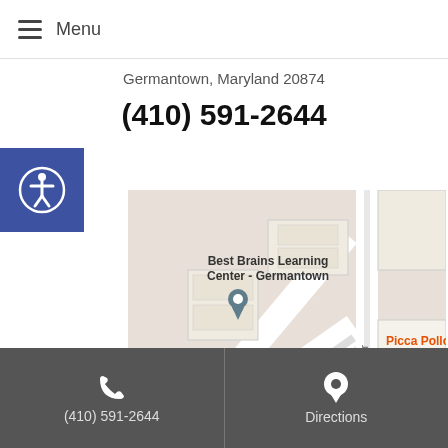Menu
Germantown, Maryland 20874
(410) 591-2644
[Figure (map): Google Maps embed showing Best Brains Learning Center - Germantown location, with nearby landmarks: Picca Pollo A La B (Peruvian), Shirdi Sa, Extra Space Storage, PriscillaM Beauty Hair & Makeup, bus stops, and Executive Park Cir road.]
Beth Li MAc, LAc
(410) 591-2644   Directions